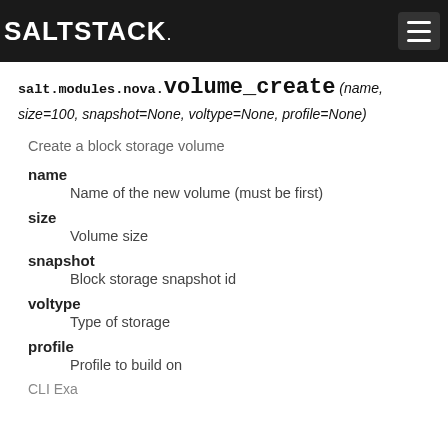SALTSTACK
salt.modules.nova. volume_create (name, size=100, snapshot=None, voltype=None, profile=None)
Create a block storage volume
name
Name of the new volume (must be first)
size
Volume size
snapshot
Block storage snapshot id
voltype
Type of storage
profile
Profile to build on
CLI Example